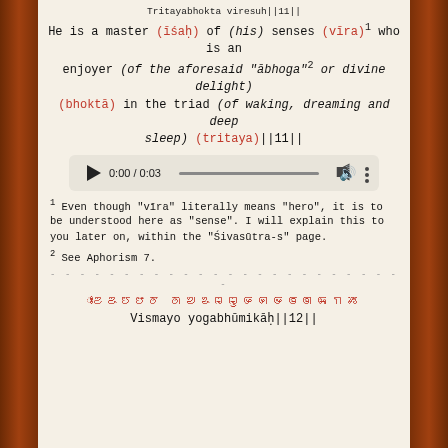Tritayabhokta viresuh||11||
He is a master (īśaḥ) of (his) senses (vīra)1 who is an enjoyer (of the aforesaid "ābhoga"2 or divine delight) (bhoktā) in the triad (of waking, dreaming and deep sleep) (tritaya)||11||
[Figure (screenshot): Audio player showing 0:00 / 0:03 with play button, progress bar, volume icon, and menu dots]
1 Even though "vīra" literally means "hero", it is to be understood here as "sense". I will explain this to you later on, within the "Śivasūtra-s" page.
2 See Aphorism 7.
- - - - - - - - - - - - - - - - - - - - - - - - -
ꢀꢁꢂꢃꢄꢅꢆ ꢇꢈꢉꢊꢋꢌꢍꢎꢏꢐꢑꢒꢓ
Vismayo yogabhūmikāḥ||12||